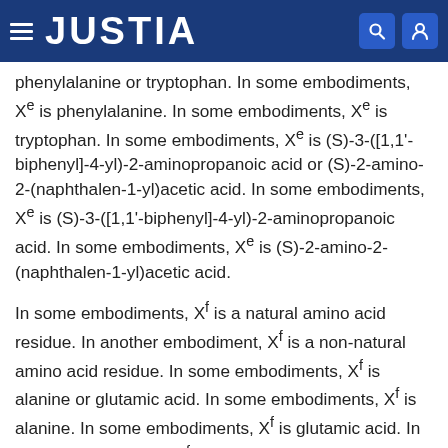JUSTIA
phenylalanine or tryptophan. In some embodiments, Xe is phenylalanine. In some embodiments, Xe is tryptophan. In some embodiments, Xe is (S)-3-([1,1'-biphenyl]-4-yl)-2-aminopropanoic acid or (S)-2-amino-2-(naphthalen-1-yl)acetic acid. In some embodiments, Xe is (S)-3-([1,1'-biphenyl]-4-yl)-2-aminopropanoic acid. In some embodiments, Xe is (S)-2-amino-2-(naphthalen-1-yl)acetic acid.
In some embodiments, Xf is a natural amino acid residue. In another embodiment, Xf is a non-natural amino acid residue. In some embodiments, Xf is alanine or glutamic acid. In some embodiments, Xf is alanine. In some embodiments, Xf is glutamic acid. In some embodiments, Xf is homoserine.
In some embodiments, X is a natural amino acid residue. In another embodiment, Xg is a non-natural amino acid